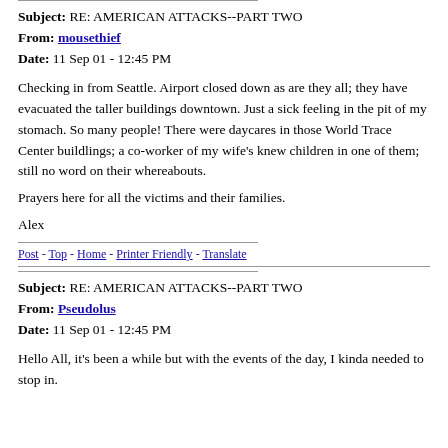Subject: RE: AMERICAN ATTACKS--PART TWO
From: mousethief
Date: 11 Sep 01 - 12:45 PM
Checking in from Seattle. Airport closed down as are they all; they have evacuated the taller buildings downtown. Just a sick feeling in the pit of my stomach. So many people! There were daycares in those World Trace Center buildlings; a co-worker of my wife's knew children in one of them; still no word on their whereabouts.
Prayers here for all the victims and their families.
Alex
Post - Top - Home - Printer Friendly - Translate
Subject: RE: AMERICAN ATTACKS--PART TWO
From: Pseudolus
Date: 11 Sep 01 - 12:45 PM
Hello All, it's been a while but with the events of the day, I kinda needed to stop in.